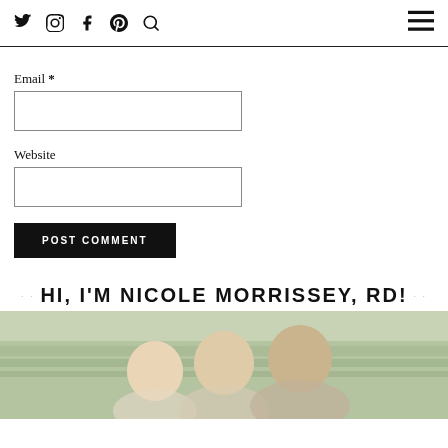Social media icons (Twitter, Instagram, Facebook, Pinterest, Search) and hamburger menu
Email *
Website
POST COMMENT
HI, I'M NICOLE MORRISSEY, RD!
[Figure (photo): Family photo of a woman with children smiling outdoors in a field with green grass background]